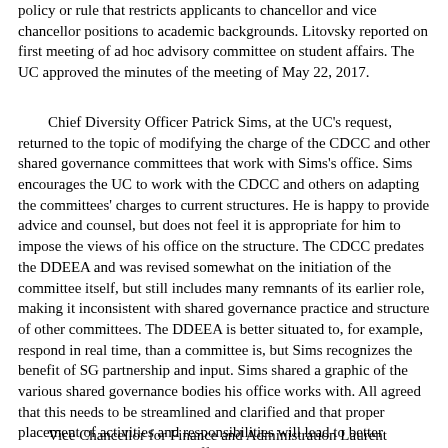policy or rule that restricts applicants to chancellor and vice chancellor positions to academic backgrounds. Litovsky reported on first meeting of ad hoc advisory committee on student affairs. The UC approved the minutes of the meeting of May 22, 2017.
Chief Diversity Officer Patrick Sims, at the UC's request, returned to the topic of modifying the charge of the CDCC and other shared governance committees that work with Sims's office. Sims encourages the UC to work with the CDCC and others on adapting the committees' charges to current structures. He is happy to provide advice and counsel, but does not feel it is appropriate for him to impose the views of his office on the structure. The CDCC predates the DDEEA and was revised somewhat on the initiation of the committee itself, but still includes many remnants of its earlier role, making it inconsistent with shared governance practice and structure of other committees. The DDEEA is better situated to, for example, respond in real time, than a committee is, but Sims recognizes the benefit of SG partnership and input. Sims shared a graphic of the various shared governance bodies his office works with. All agreed that this needs to be streamlined and clarified and that proper placement of activities and responsibilities will lead to better accountability and increased efficiency. Ample discussion. UC will invite CDCC leadership and others in to discuss.
Vice Chancellor for Finance and Administration Laurent